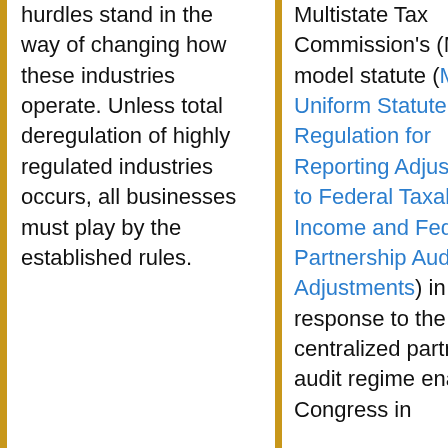hurdles stand in the way of changing how these industries operate. Unless total deregulation of highly regulated industries occurs, all businesses must play by the established rules.
Multistate Tax Commission's (MTC) model statute (Model Uniform Statute and Regulation for Reporting Adjustments to Federal Taxable Income and Federal Partnership Audit Adjustments) in response to the federal centralized partnership audit regime enacted by Congress in